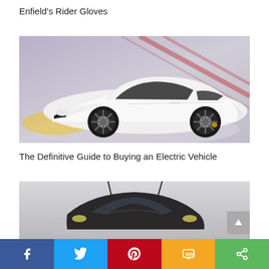Enfield’s Rider Gloves
[Figure (photo): White Porsche electric concept car on a display platform with purple-lit background]
The Definitive Guide to Buying an Electric Vehicle
[Figure (photo): Partial view of a small dark-colored electric car from above/front angle on grey background]
[Figure (infographic): Social share bar with Facebook, Twitter, Pinterest, SMS, and share buttons]